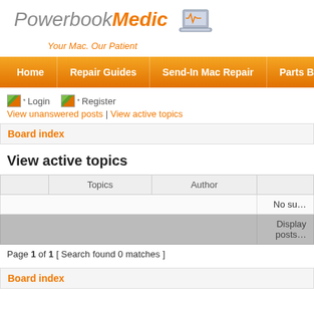[Figure (logo): PowerbookMedic logo with laptop icon and tagline 'Your Mac. Our Patient']
[Figure (infographic): Orange navigation bar with menu items: Home, Repair Guides, Send-In Mac Repair, Parts B...]
* Login  * Register
View unanswered posts | View active topics
Board index
View active topics
|  | Topics | Author |  |
| --- | --- | --- | --- |
|  |  |  | No su... |
|  |  |  | Display posts... |
Page 1 of 1 [ Search found 0 matches ]
Board index